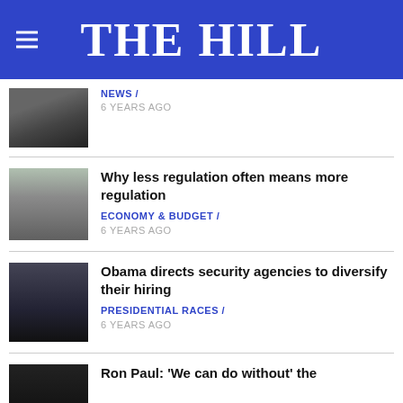THE HILL
NEWS / 6 YEARS AGO
Why less regulation often means more regulation — ECONOMY & BUDGET / 6 YEARS AGO
Obama directs security agencies to diversify their hiring — PRESIDENTIAL RACES / 6 YEARS AGO
Ron Paul: 'We can do without' the